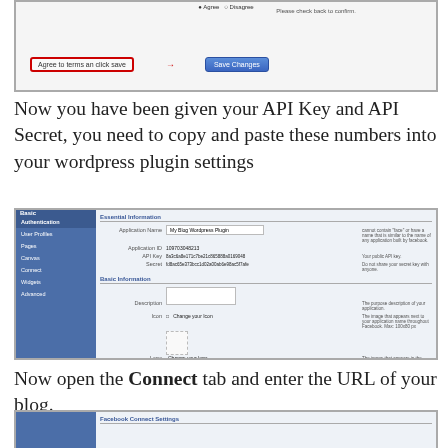[Figure (screenshot): Screenshot showing 'Agree to terms and click save' button with red arrow pointing to 'Save Changes' button]
Now you have been given your API Key and API Secret, you need to copy and paste these numbers into your wordpress plugin settings
[Figure (screenshot): Facebook developer app settings page showing Basic and Essential Information sections with Application Name, Application ID, API Key, Secret fields and Basic Information section with Description, Icon, Logo, Language, Developers fields]
Now open the Connect tab and enter the URL of your blog.
[Figure (screenshot): Partial screenshot of Facebook Connect Settings page]